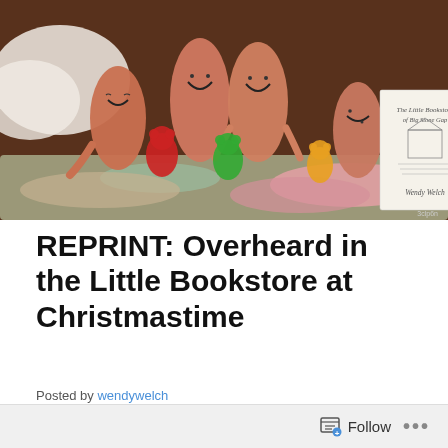[Figure (photo): Photo of finger puppets with smiley faces alongside gummy bears (red, green, orange) and colorful yarn, with a copy of the book 'The Little Bookstore of Big Stone Gap' by Wendy Welch propped in the background. Dark brown background.]
REPRINT: Overheard in the Little Bookstore at Christmastime
Posted by wendywelch